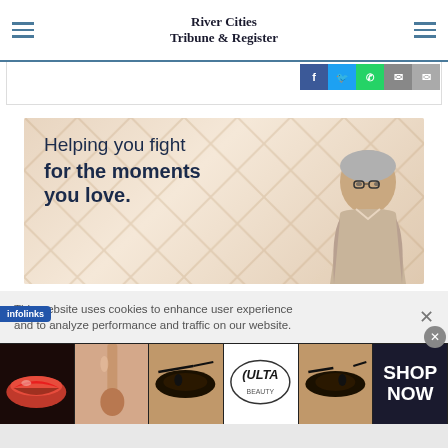River Cities Tribune & Register
[Figure (screenshot): Social share buttons: Facebook (blue), Twitter (light blue), WhatsApp (green), Phone (grey), Email (grey)]
[Figure (illustration): Advertisement banner with beige/tan diamond pattern background. Text reads: 'Helping you fight for the moments you love.' with an elderly man wearing glasses on the right side.]
This website uses cookies to enhance user experience and to analyze performance and traffic on our website.
[Figure (infographic): Infolinks advertisement strip showing makeup/beauty images: red lips, makeup brush, dramatic eyes, ULTA Beauty logo, dramatic eyes, and SHOP NOW text on dark background.]